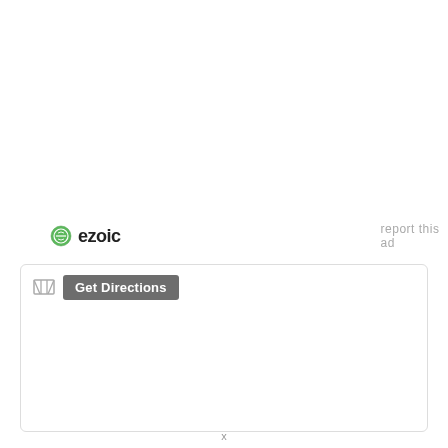[Figure (logo): Ezoic logo with green circle checkmark icon and bold 'ezoic' text]
report this ad
[Figure (other): Map widget box with Get Directions button and map icon]
x